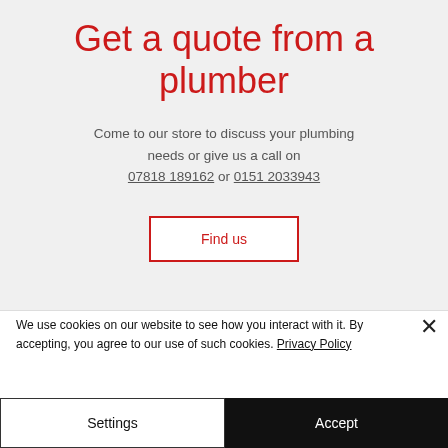Get a quote from a plumber
Come to our store to discuss your plumbing needs or give us a call on 07818 189162 or 0151 2033943
Find us
We use cookies on our website to see how you interact with it. By accepting, you agree to our use of such cookies. Privacy Policy
Settings
Accept